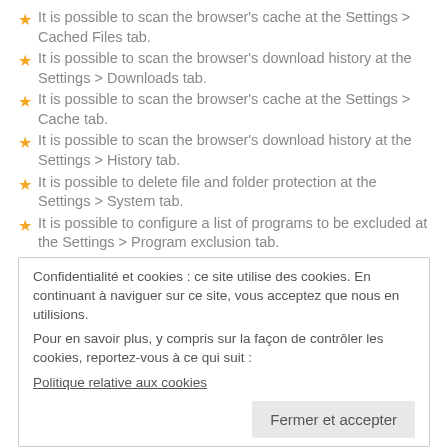It is possible to scan the browser's cache at the Settings > Cached Files tab.
It is possible to scan the browser's download history at the Settings > Downloads tab.
It is possible to scan the browser's cache at the Settings > Cache tab.
It is possible to scan the browser's download history at the Settings > History tab.
It is possible to delete file and folder protection at the Settings > System tab.
It is possible to configure a list of programs to be excluded at the Settings > Program exclusion tab.
Confidentialité et cookies : ce site utilise des cookies. En continuant à naviguer sur ce site, vous acceptez que nous en utilisions.
Pour en savoir plus, y compris sur la façon de contrôler les cookies, reportez-vous à ce qui suit :
Politique relative aux cookies
Fermer et accepter